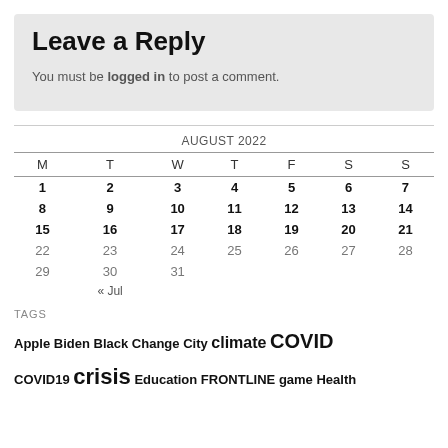Leave a Reply
You must be logged in to post a comment.
| M | T | W | T | F | S | S |
| --- | --- | --- | --- | --- | --- | --- |
| 1 | 2 | 3 | 4 | 5 | 6 | 7 |
| 8 | 9 | 10 | 11 | 12 | 13 | 14 |
| 15 | 16 | 17 | 18 | 19 | 20 | 21 |
| 22 | 23 | 24 | 25 | 26 | 27 | 28 |
| 29 | 30 | 31 |  |  |  |  |
TAGS
Apple Biden Black Change City climate COVID COVID19 crisis Education FRONTLINE game Health